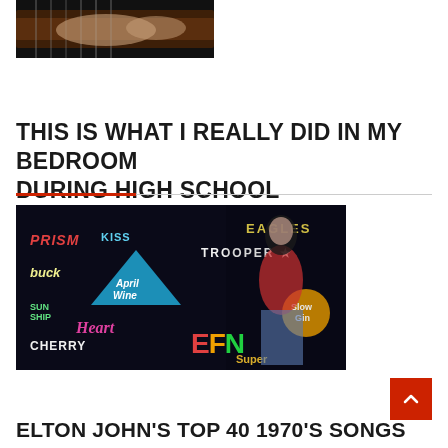[Figure (photo): Close-up of hands playing an electric guitar with a dark/brown body]
THIS IS WHAT I REALLY DID IN MY BEDROOM DURING HIGH SCHOOL
[Figure (photo): Woman in red top and jeans standing in front of a colorful wall covered with classic rock band logos including Eagles, April Wine, Heart, Prism, Trooper, and others]
ELTON JOHN'S TOP 40 1970'S SONGS